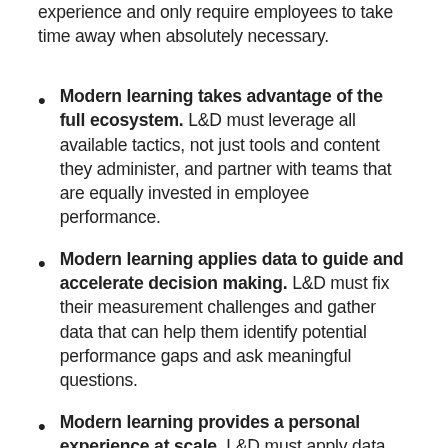experience and only require employees to take time away when absolutely necessary.
Modern learning takes advantage of the full ecosystem. L&D must leverage all available tactics, not just tools and content they administer, and partner with teams that are equally invested in employee performance.
Modern learning applies data to guide and accelerate decision making. L&D must fix their measurement challenges and gather data that can help them identify potential performance gaps and ask meaningful questions.
Modern learning provides a personal experience at scale. L&D must apply data and technology to provide right fit